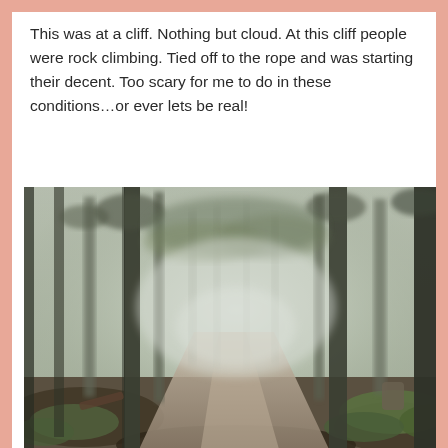This was at a cliff. Nothing but cloud. At this cliff people were rock climbing. Tied off to the rope and was starting their decent. Too scary for me to do in these conditions…or ever lets be real!
[Figure (photo): A misty, foggy forest trail winding through tall trees with green undergrowth on both sides. The path curves into the fog-shrouded woods.]